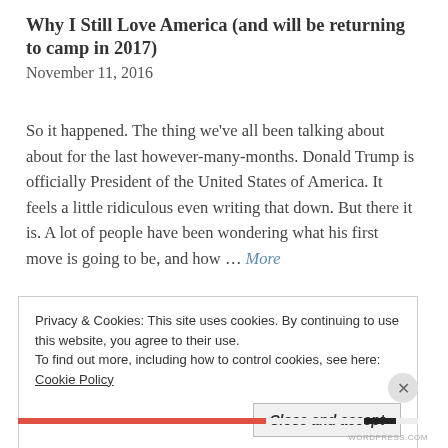Why I Still Love America (and will be returning to camp in 2017)
November 11, 2016
So it happened. The thing we've all been talking about about for the last however-many-months. Donald Trump is officially President of the United States of America. It feels a little ridiculous even writing that down. But there it is. A lot of people have been wondering what his first move is going to be, and how … More
Privacy & Cookies: This site uses cookies. By continuing to use this website, you agree to their use.
To find out more, including how to control cookies, see here: Cookie Policy
Close and accept